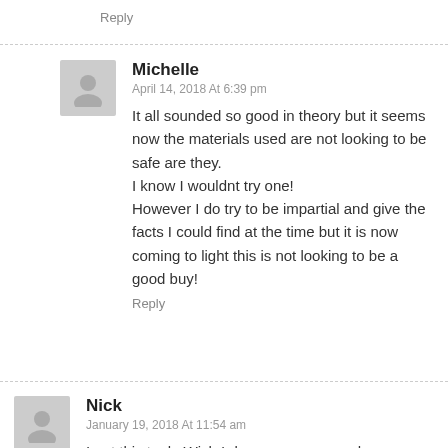Reply
Michelle
April 14, 2018 At 6:39 pm
It all sounded so good in theory but it seems now the materials used are not looking to be safe are they.
I know I wouldnt try one!
However I do try to be impartial and give the facts I could find at the time but it is now coming to light this is not looking to be a good buy!
Reply
Nick
January 19, 2018 At 11:54 am
I got this tank, Wish I done some research on